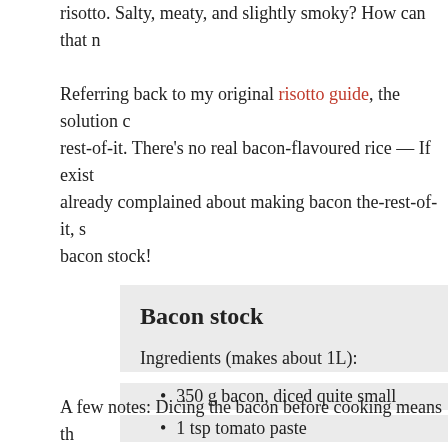risotto. Salty, meaty, and slightly smoky? How can that not make a great risotto.

Referring back to my original risotto guide, the solution came from making bacon the-rest-of-it. There's no real bacon-flavoured rice — If existing complaints didn't lead me to already complained about making bacon the-rest-of-it, so the solution was simple: bacon stock!
Bacon stock
Ingredients (makes about 1L):
350 g bacon, diced quite small
1 tsp tomato paste
1. Cook the bacon slowly in a large heavy pan. Expect this to take a while. Pour off any f...
2. Add the tomato paste and cook for 1 m... water and bring to a medium simmer. Sim... mesh strainer.
A few notes: Dicing the bacon before cooking means th...